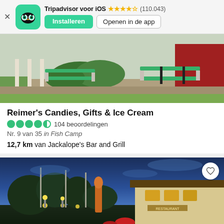[Figure (screenshot): Tripadvisor app banner with owl logo, star rating 4.5 stars (110.043 reviews), Installeren button and Openen in de app button]
[Figure (photo): Outdoor seating area with green picnic benches and hedges, daytime photo]
Reimer's Candies, Gifts & Ice Cream
104 beoordelingen
Nr. 9 van 35 in Fish Camp
12,7 km van Jackalope's Bar and Grill
[Figure (photo): Restaurant at dusk with illuminated building, trees and flagpoles in foreground, blue sky background]